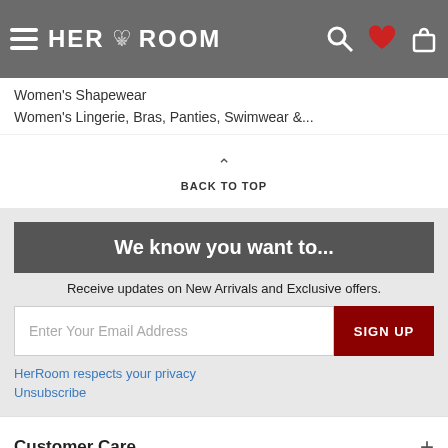HER ROOM
Women's Shapewear
Women's Lingerie, Bras, Panties, Swimwear &...
BACK TO TOP
We know you want to...
Receive updates on New Arrivals and Exclusive offers.
Enter Your Email Address
SIGN UP
HerRoom respects your privacy
Unsubscribe
Customer Care